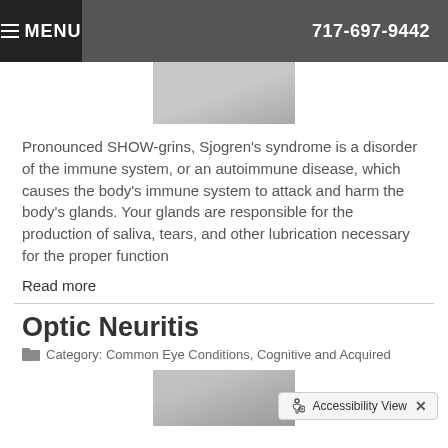MENU  717-697-9442
[Figure (photo): Partial thumbnail photo of a person, cropped at top]
Pronounced SHOW-grins, Sjogren's syndrome is a disorder of the immune system, or an autoimmune disease, which causes the body's immune system to attack and harm the body's glands. Your glands are responsible for the production of saliva, tears, and other lubrication necessary for the proper function
Read more
Optic Neuritis
Category: Common Eye Conditions, Cognitive and Acquired
[Figure (photo): Partial thumbnail photo of a person, cropped at bottom, with Accessibility View overlay bar]